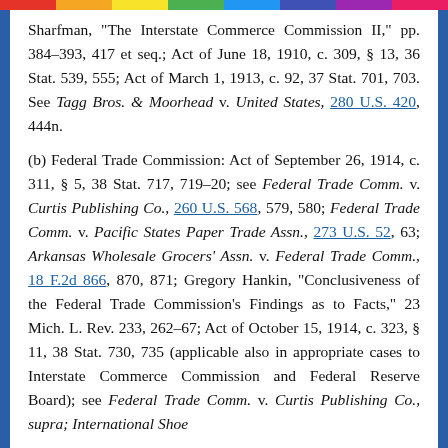Sharfman, "The Interstate Commerce Commission II," pp. 384-393, 417 et seq.; Act of June 18, 1910, c. 309, § 13, 36 Stat. 539, 555; Act of March 1, 1913, c. 92, 37 Stat. 701, 703. See Tagg Bros. & Moorhead v. United States, 280 U.S. 420, 444n.
(b) Federal Trade Commission: Act of September 26, 1914, c. 311, § 5, 38 Stat. 717, 719-20; see Federal Trade Comm. v. Curtis Publishing Co., 260 U.S. 568, 579, 580; Federal Trade Comm. v. Pacific States Paper Trade Assn., 273 U.S. 52, 63; Arkansas Wholesale Grocers' Assn. v. Federal Trade Comm., 18 F.2d 866, 870, 871; Gregory Hankin, "Conclusiveness of the Federal Trade Commission's Findings as to Facts," 23 Mich. L. Rev. 233, 262-67; Act of October 15, 1914, c. 323, § 11, 38 Stat. 730, 735 (applicable also in appropriate cases to Interstate Commerce Commission and Federal Reserve Board); see Federal Trade Comm. v. Curtis Publishing Co., supra; International Shoe